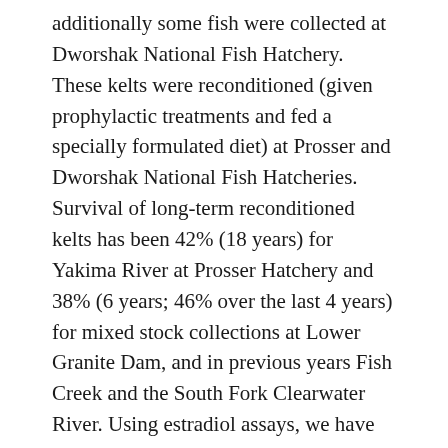additionally some fish were collected at Dworshak National Fish Hatchery. These kelts were reconditioned (given prophylactic treatments and fed a specially formulated diet) at Prosser and Dworshak National Fish Hatcheries. Survival of long-term reconditioned kelts has been 42% (18 years) for Yakima River at Prosser Hatchery and 38% (6 years; 46% over the last 4 years) for mixed stock collections at Lower Granite Dam, and in previous years Fish Creek and the South Fork Clearwater River. Using estradiol assays, we have established that steelhead rematuration rates vary annually and spatially and ranged from 14.1% to 77.8%. We determined that kelts can remature as consecutive or skip spawners, typically returning